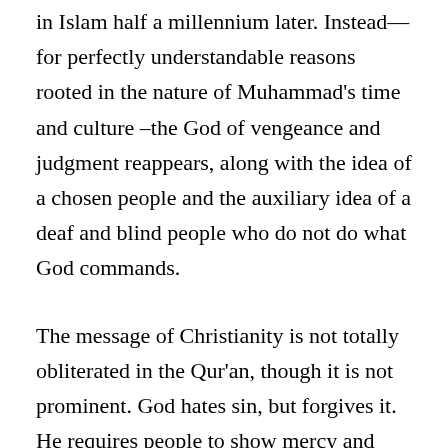in Islam half a millennium later. Instead—for perfectly understandable reasons rooted in the nature of Muhammad's time and culture –the God of vengeance and judgment reappears, along with the idea of a chosen people and the auxiliary idea of a deaf and blind people who do not do what God commands.
The message of Christianity is not totally obliterated in the Qur'an, though it is not prominent. God hates sin, but forgives it. He requires people to show mercy and generosity, but not with equanimity. The God of the Qur'an exercises restraint rather than expresses